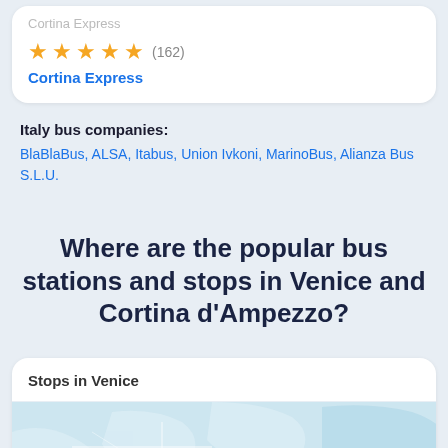Cortina Express
★★★★½ (162)
Cortina Express
Italy bus companies:
BlaBlaBus, ALSA, Itabus, Union Ivkoni, MarinoBus, Alianza Bus S.L.U.
Where are the popular bus stations and stops in Venice and Cortina d'Ampezzo?
Stops in Venice
[Figure (map): Map showing bus stops in Venice with a marker labeled B]